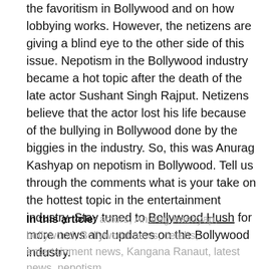the favoritism in Bollywood and on how lobbying works. However, the netizens are giving a blind eye to the other side of this issue. Nepotism in the Bollywood industry became a hot topic after the death of the late actor Sushant Singh Rajput. Netizens believe that the actor lost his life because of the bullying in Bollywood done by the biggies in the industry. So, this was Anurag Kashyap on nepotism in Bollywood. Tell us through the comments what is your take on the hottest topic in the entertainment industry. Stay tuned to Bollywood Hush for more news and updates on the Bollywood industry.
In this article: actors, Anurag Kashyap, bollywood, Bollywood news, celebs, entertainment news, Kangana Ranaut, latest news, nepotism, nepotism in Bollywood, Sushant Singh Rajput